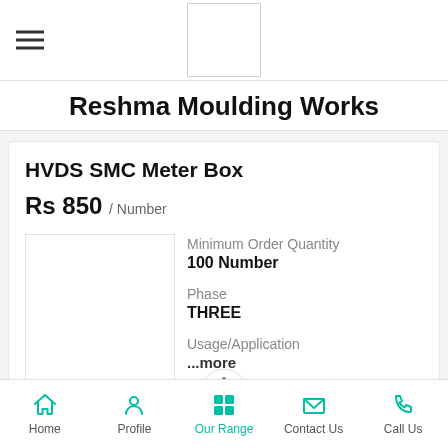Reshma Moulding Works
HVDS SMC Meter Box
Rs 850 / Number
Minimum Order Quantity
100 Number
Phase
THREE
Usage/Application
...more
Home  Profile  Our Range  Contact Us  Call Us